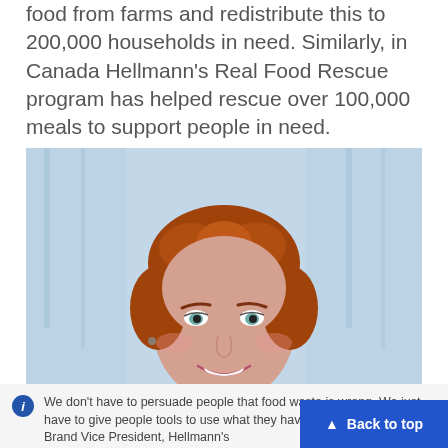food from farms and redistribute this to 200,000 households in need. Similarly, in Canada Hellmann's Real Food Rescue program has helped rescue over 100,000 meals to support people in need.
[Figure (photo): Professional headshot of a woman with curly red hair, smiling, wearing a dark blazer over a white shirt, photographed against a light blue-grey background.]
We don't have to persuade people that food waste is wrong. We just have to give people tools to use what they have better. Christina Bau, Brand Vice President, Hellmann's